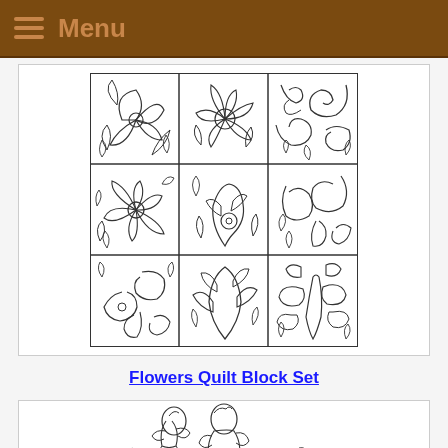Menu
[Figure (illustration): 3x3 grid of floral quilt block patterns, each square containing line-drawn flowers, leaves, and scrollwork designs]
Flowers Quilt Block Set
[Figure (illustration): Partial view of cartoon/embroidery style figures of women or children at bottom of page]